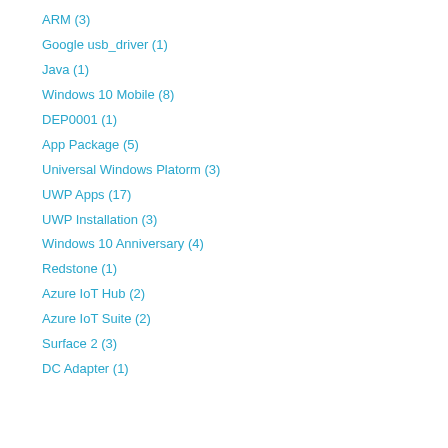ARM (3)
Google usb_driver (1)
Java (1)
Windows 10 Mobile (8)
DEP0001 (1)
App Package (5)
Universal Windows Platorm (3)
UWP Apps (17)
UWP Installation (3)
Windows 10 Anniversary (4)
Redstone (1)
Azure IoT Hub (2)
Azure IoT Suite (2)
Surface 2 (3)
DC Adapter (1)